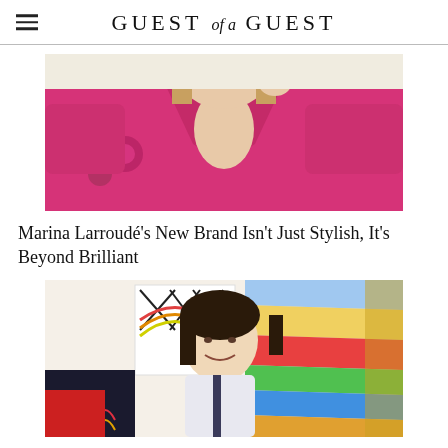GUEST of a GUEST
[Figure (photo): Woman wearing a bright pink/magenta satin robe with floral embroidery, blonde hair, hands raised near her head]
Marina Larroudé's New Brand Isn't Just Stylish, It's Beyond Brilliant
[Figure (photo): Woman with dark hair smiling, sitting in front of colorful striped rainbow background with geometric artwork]